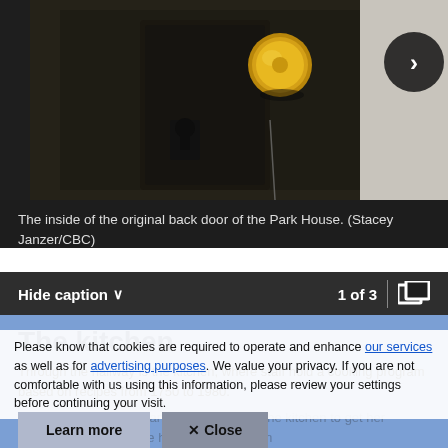[Figure (photo): Close-up photo of an antique door lock/knob on a dark wooden door — the inside of the original back door of the Park House. The knob is brass/gold colored on a dark ornate metal plate.]
The inside of the original back door of the Park House. (Stacey Janzer/CBC)
Hide caption ∨   1 of 3
The kitchen
Please know that cookies are required to operate and enhance our services as well as for advertising purposes. We value your privacy. If you are not comfortable with us using this information, please review your settings before continuing your visit.
Through the hallway is the kitchen, where staff hold a cooking program based on recipes from 1750 to 1980.
After one class, a woman was returning to the kitchen to get her wedding ring, when she heard 'Get out' from
Learn more   ✕ Close